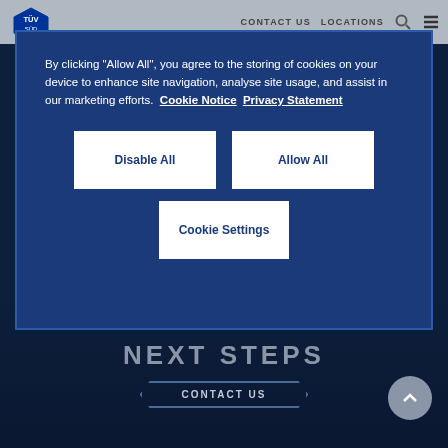CONTACT US  LOCATIONS
By clicking “Allow All”, you agree to the storing of cookies on your device to enhance site navigation, analyse site usage, and assist in our marketing efforts.  Cookie Notice  Privacy Statement
Disable All
Allow All
Cookie Settings
NEXT STEPS
CONTACT US